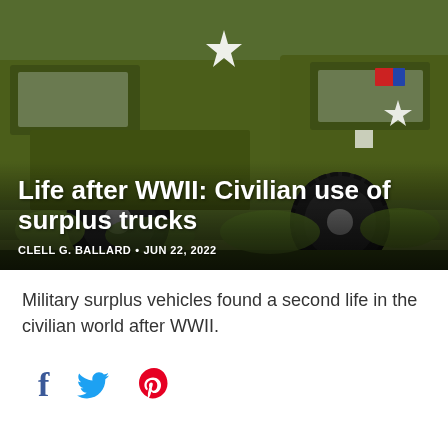[Figure (photo): A WWII-era military olive green truck with a white star emblem on the hood, large off-road tires, surrounded by green vegetation/weeds. A red and blue striped decal is visible near the windshield.]
Life after WWII: Civilian use of surplus trucks
CLELL G. BALLARD • JUN 22, 2022
Military surplus vehicles found a second life in the civilian world after WWII.